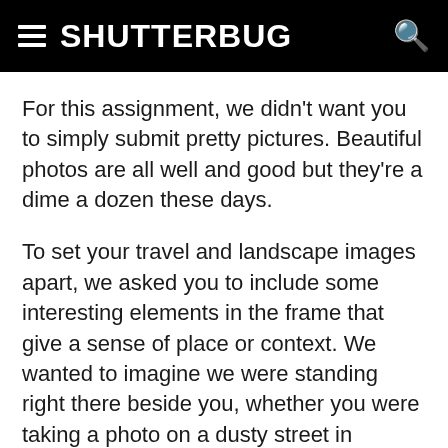SHUTTERBUG
For this assignment, we didn't want you to simply submit pretty pictures. Beautiful photos are all well and good but they're a dime a dozen these days.
To set your travel and landscape images apart, we asked you to include some interesting elements in the frame that give a sense of place or context. We wanted to imagine we were standing right there beside you, whether you were taking a photo on a dusty street in Marrakesh, or turning your camera toward a vast plain in Montana. With our top 10 favorite images from readers for this assignment, we felt we were right there with you to capture these striking moments.